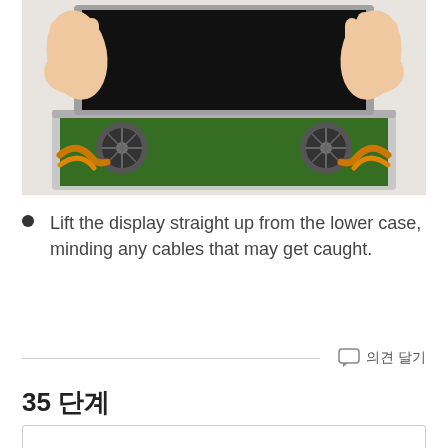[Figure (photo): Hands lifting the display straight up from an open laptop, showing the internal components including motherboard, cooling fans, and ribbon cables.]
Lift the display straight up from the lower case, minding any cables that may get caught.
의견 달기
35 단계